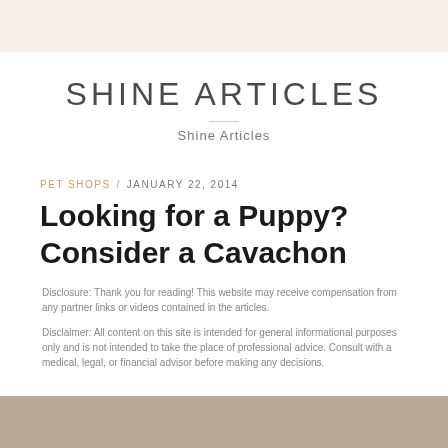SHINE ARTICLES
Shine Articles
PET SHOPS / JANUARY 22, 2014
Looking for a Puppy? Consider a Cavachon
Disclosure: Thank you for reading! This website may receive compensation from any partner links or videos contained in the articles.
Disclaimer: All content on this site is intended for general informational purposes only and is not intended to take the place of professional advice. Consult with a medical, legal, or financial advisor before making any decisions.
[Figure (photo): Partial photo strip at bottom of page, showing what appears to be a puppy or dog image, mostly cut off]